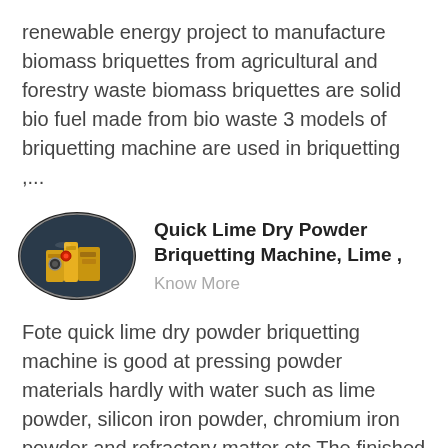renewable energy project to manufacture biomass briquettes from agricultural and forestry waste biomass briquettes are solid bio fuel made from bio waste 3 models of briquetting machine are used in briquetting ,...
[Figure (photo): Oval-shaped photo of an industrial briquetting machine, yellow/orange machinery with mechanical components on dark background]
Quick Lime Dry Powder Briquetting Machine, Lime ,
Know More
Fote quick lime dry powder briquetting machine is good at pressing powder materials hardly with water such as lime powder, silicon iron powder, chromium iron powder and refractory matter etc The finished briquettes are widely used in industries of lime calcinations, blast furnace calcinations and metallurgy etc...